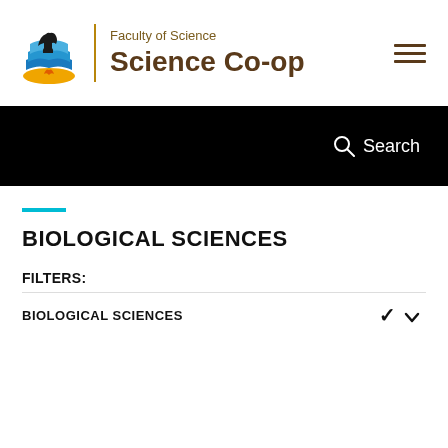[Figure (logo): University of Calgary Faculty of Science logo with bison and landscape, beside 'Faculty of Science / Science Co-op' text header]
BIOLOGICAL SCIENCES
FILTERS:
BIOLOGICAL SCIENCES